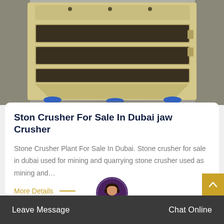[Figure (photo): Yellow/beige industrial stone crusher machine with multiple shelf-like openings, blue feet/pads at base, photographed in an industrial setting]
Ston Crusher For Sale In Dubai jaw Crusher
Stone Crusher Plant For Sale In Dubai. Stone crusher for sale in dubai used for mining and quarrying stone crusher used as mining and…
More Details —
Leave Message   Chat Online